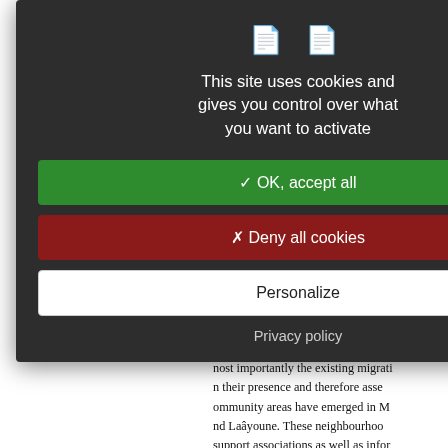agreements: the Marrakech Pact and though these documents are not le important step forward in the hist contribute to international accounta issues through global dialogue (Oelg drew much attention to Morocco, w country has a role to play as a mod Projected in the light of the major m hoice but to ensure that its migra The following section demonstrates h ormalise the presence and visibility
3.3. The Positive A Morocco Linked to
As a result of this migration diplom nost importantly the existing migrati n their presence and therefore asse ommunity areas have emerged in h nd Laâyoune. These neighbourhoo support associations as well as infor r prophetic (Bava, 2016). These h nigrants live (Coyault, 2014). The Central Africa seems to be represe
[Figure (screenshot): Cookie consent modal dialog with dark grey background. Contains a hand/document icon pair, title text 'This site uses cookies and gives you control over what you want to activate', a green 'OK, accept all' button, a dark red 'Deny all cookies' button, a white 'Personalize' button, and a 'Privacy policy' link.]